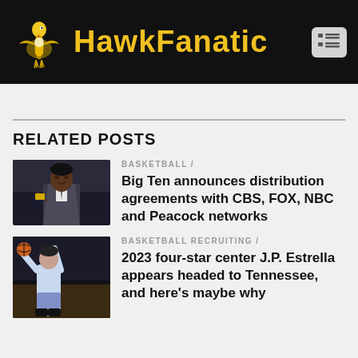HawkFanatic
RELATED POSTS
BASKETBALL /
Big Ten announces distribution agreements with CBS, FOX, NBC and Peacock networks
BASKETBALL RECRUITING /
2023 four-star center J.P. Estrella appears headed to Tennessee, and here’s maybe why